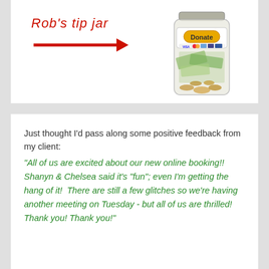[Figure (illustration): Rob's tip jar graphic: handwritten-style red italic text 'Rob's tip jar' with a red arrow pointing right toward an illustration of a glass jar filled with coins and dollar bills, labeled with a 'Donate' button and payment card logos (VISA, MasterCard, etc.)]
Just thought I'd pass along some positive feedback from my client: "All of us are excited about our new online booking!! Shanyn & Chelsea said it's "fun"; even I'm getting the hang of it! There are still a few glitches so we're having another meeting on Tuesday - but all of us are thrilled! Thank you! Thank you!"